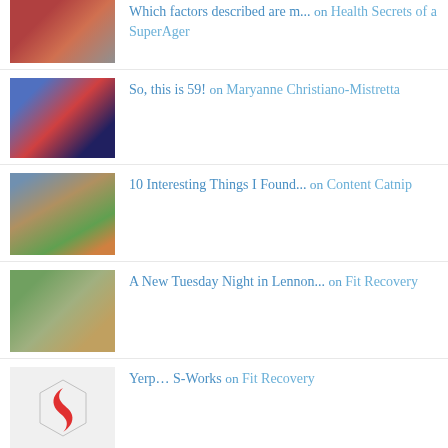Which factors described are m... on Health Secrets of a SuperAger
So, this is 59! on Maryanne Christiano-Mistretta
10 Interesting Things I Found... on Content Catnip
A New Tuesday Night in Lennon... on Fit Recovery
Yerp… S-Works on Fit Recovery